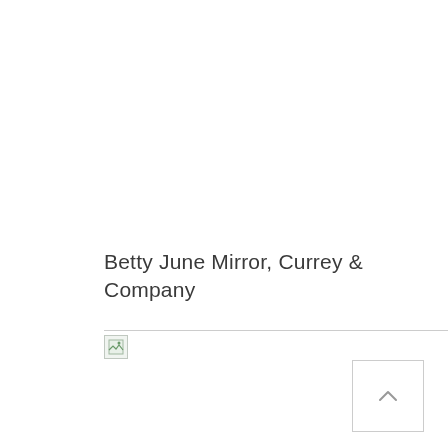Betty June Mirror, Currey & Company
[Figure (other): Broken image icon with a horizontal rule below the title, representing a failed image load]
[Figure (other): Scroll-to-top button with an upward chevron arrow, positioned at lower right]